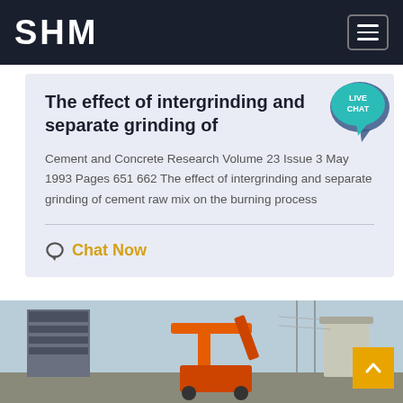SHM
The effect of intergrinding and separate grinding of
Cement and Concrete Research Volume 23 Issue 3 May 1993 Pages 651 662 The effect of intergrinding and separate grinding of cement raw mix on the burning process
Chat Now
[Figure (photo): Industrial construction site with heavy machinery including an orange crane/excavator and concrete structures against a light sky]